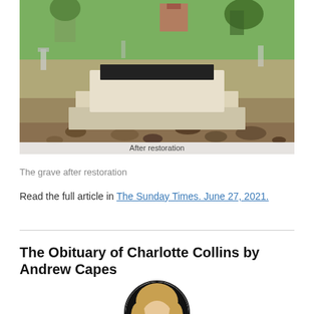[Figure (photo): Photograph of a restored grave/tomb in a cemetery. The grave is a whitish/cream rectangular raised structure with a dark plaque on top, surrounded by grass, trees, and other grave markers. Rubble/dirt is visible in the foreground. Caption overlay reads 'After restoration'.]
The grave after restoration
Read the full article in The Sunday Times. June 27, 2021.
The Obituary of Charlotte Collins by Andrew Capes
[Figure (photo): Circular portrait photograph of a woman (Charlotte Collins) with blonde/light hair, partially visible from the shoulders up, set against a dark background.]